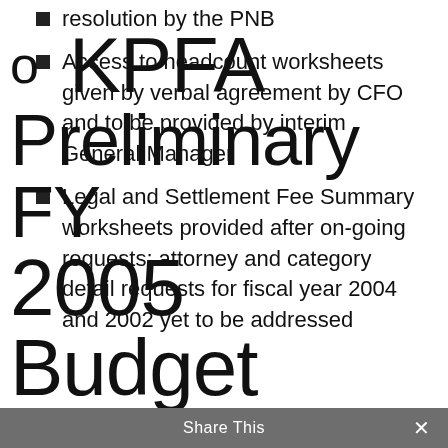resolution by the PNB
Access to headcount worksheets given by verbal agreement by CFO and to be provided by interim General Manager
Legal and Settlement Fee Summary worksheets provided after on-going requests; attorney and category detail requests for fiscal year 2004 and 2002 yet to be addressed
o   KPFA Preliminary FY 2005 Budget